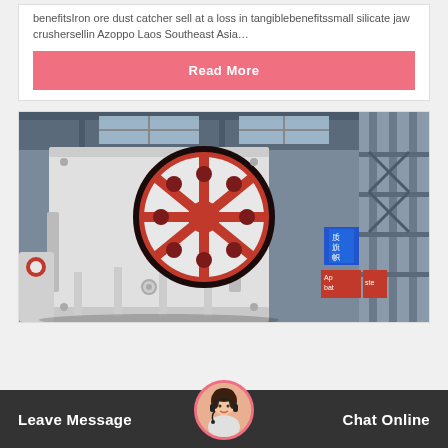benefitsIron ore dust catcher sell at a loss in tangiblebenefitssmall silicate jaw crushersellin Azoppo Laos Southeast Asia…
Read More
[Figure (photo): Industrial jaw crusher machine in a factory setting, large white machine with red flywheel, factory background with Chinese signage]
Leave Message
Chat Online